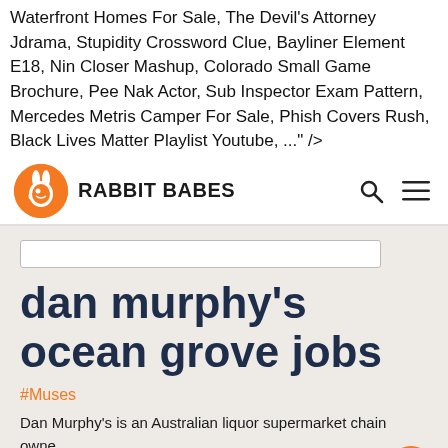Waterfront Homes For Sale, The Devil's Attorney Jdrama, Stupidity Crossword Clue, Bayliner Element E18, Nin Closer Mashup, Colorado Small Game Brochure, Pee Nak Actor, Sub Inspector Exam Pattern, Mercedes Metris Camper For Sale, Phish Covers Rush, Black Lives Matter Playlist Youtube, ..." />
RABBIT BABES
dan murphy's ocean grove jobs
#Muses
Dan Murphy's is an Australian liquor supermarket chain owned by Woolworths Limited, with 226 stores across the country. View all our dan murphy vacancies now with new jobs added daily! Back...